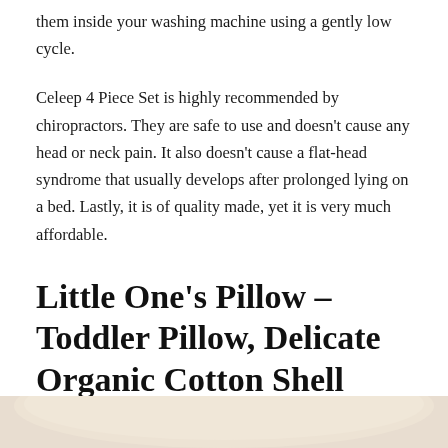them inside your washing machine using a gently low cycle.
Celeep 4 Piece Set is highly recommended by chiropractors. They are safe to use and doesn't cause any head or neck pain. It also doesn't cause a flat-head syndrome that usually develops after prolonged lying on a bed. Lastly, it is of quality made, yet it is very much affordable.
Little One's Pillow – Toddler Pillow, Delicate Organic Cotton Shell
[Figure (photo): Bottom portion of a pillow product image, showing a light beige/cream colored pillow against a white background]